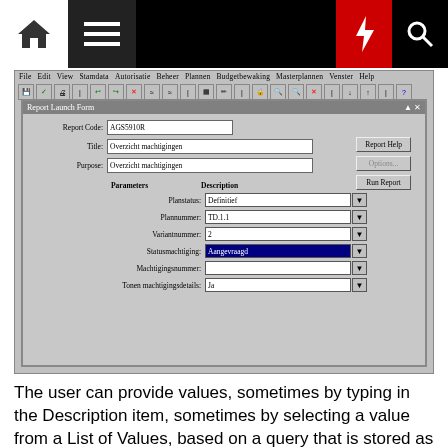[Figure (screenshot): Report Launch Form dialog in a software application showing fields: Report Code (AGS5910R), Title (Overzicht machtigingen), Purpose (Overzicht machtigingen), and parameter rows for Planstatus (Definitief), Plannummer (TD.1.1), Variantnummer (2), Statusmachtiging (Aangevraagd - selected), Machtigingsnummer (empty), Tonen machtigingsdetails (Ja). Buttons: Report Help, Options, Run Report.]
The user can provide values, sometimes by typing in the Description item, sometimes by selecting a value from a List of Values, based on a query that is stored as part of the Parameter definition. Then the report can be run, after which different values for the parameters can be set.